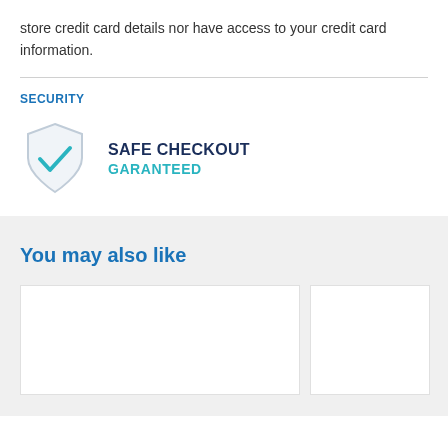store credit card details nor have access to your credit card information.
SECURITY
[Figure (illustration): Shield icon with a teal checkmark inside, representing safe checkout security badge]
SAFE CHECKOUT GARANTEED
You may also like